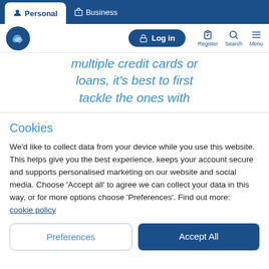Personal | Business | Log in | Register | Search | Menu
multiple credit cards or loans, it's best to first tackle the ones with
Cookies
We'd like to collect data from your device while you use this website. This helps give you the best experience, keeps your account secure and supports personalised marketing on our website and social media. Choose 'Accept all' to agree we can collect your data in this way, or for more options choose 'Preferences'. Find out more: cookie policy
Preferences | Accept All